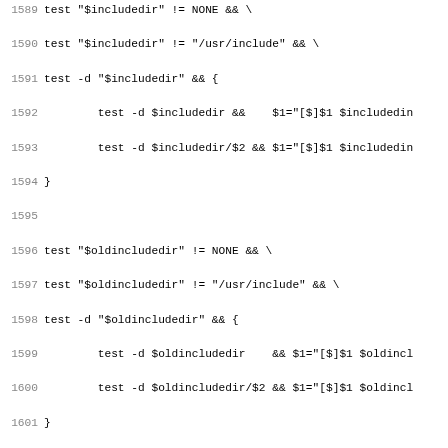[Figure (screenshot): Source code listing (shell/autoconf script) with line numbers 1589-1620, showing test commands for include directories and CF_INHERIT_SCRIPT and CF_INTEL_COMPILER macro definitions.]